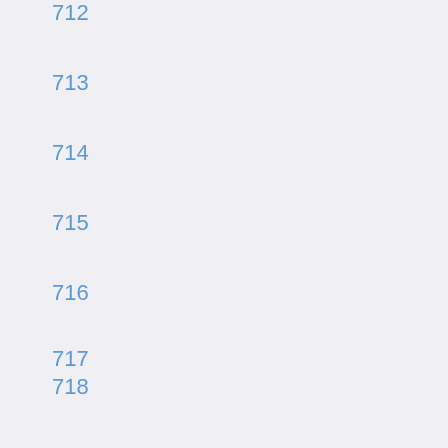712
713
714
715
716
717
718
719
720
721
722
723